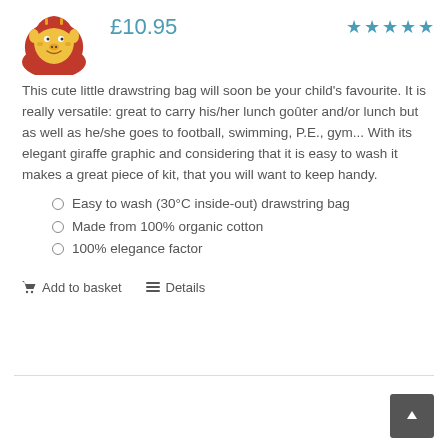[Figure (illustration): Cartoon giraffe character wearing a red hood/cape, yellow face with smile]
£10.95
[Figure (other): Five blue star rating icons]
This cute little drawstring bag will soon be your child's favourite. It is really versatile: great to carry his/her lunch goûter and/or lunch but as well as he/she goes to football, swimming, P.E., gym... With its elegant giraffe graphic and considering that it is easy to wash it makes a great piece of kit, that you will want to keep handy.
Easy to wash (30°C inside-out) drawstring bag
Made from 100% organic cotton
100% elegance factor
Add to basket   Details